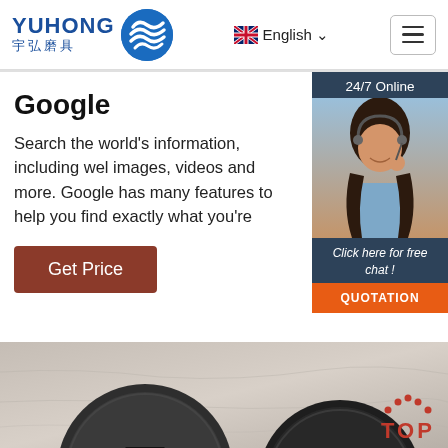[Figure (logo): YUHONG 宇弘磨具 logo with blue wave/globe icon]
English ∨
[Figure (screenshot): Hamburger menu icon button]
Google
Search the world's information, including webpages, images, videos and more. Google has many features to help you find exactly what you're
Get Price
[Figure (photo): 24/7 Online customer service widget with woman wearing headset, 'Click here for free chat!' text, and QUOTATION button]
[Figure (photo): Bottom image showing SIGMA Z abrasive grinding discs on grey stone surface with TOP badge in lower right]